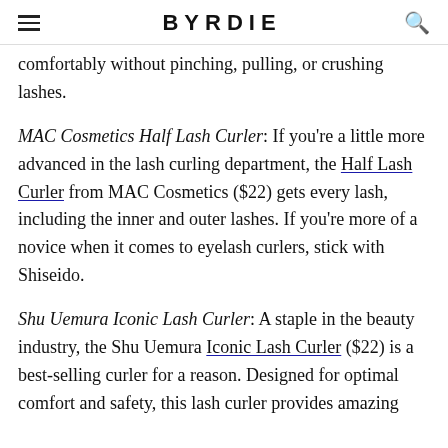BYRDIE
comfortably without pinching, pulling, or crushing lashes.
MAC Cosmetics Half Lash Curler: If you're a little more advanced in the lash curling department, the Half Lash Curler from MAC Cosmetics ($22) gets every lash, including the inner and outer lashes. If you're more of a novice when it comes to eyelash curlers, stick with Shiseido.
Shu Uemura Iconic Lash Curler: A staple in the beauty industry, the Shu Uemura Iconic Lash Curler ($22) is a best-selling curler for a reason. Designed for optimal comfort and safety, this lash curler provides amazing